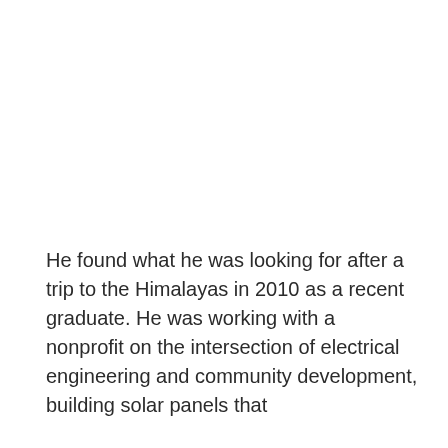He found what he was looking for after a trip to the Himalayas in 2010 as a recent graduate. He was working with a nonprofit on the intersection of electrical engineering and community development, building solar panels that